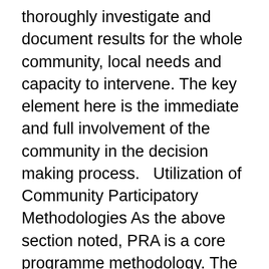thoroughly investigate and document results for the whole community, local needs and capacity to intervene. The key element here is the immediate and full involvement of the community in the decision making process.   Utilization of Community Participatory Methodologies As the above section noted, PRA is a core programme methodology. The project also emphasize two additional interactive, participatory methodologies, the UNDP/World bank's Self-esteem, Associative- strength, Resource-fullness, Action-planning and Responsibility